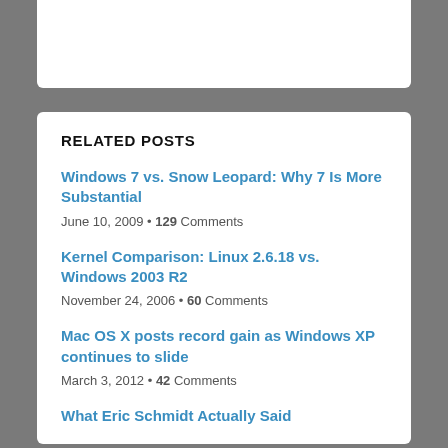RELATED POSTS
Windows 7 vs. Snow Leopard: Why 7 Is More Substantial
June 10, 2009 • 129 Comments
Kernel Comparison: Linux 2.6.18 vs. Windows 2003 R2
November 24, 2006 • 60 Comments
Mac OS X posts record gain as Windows XP continues to slide
March 3, 2012 • 42 Comments
What Eric Schmidt Actually Said